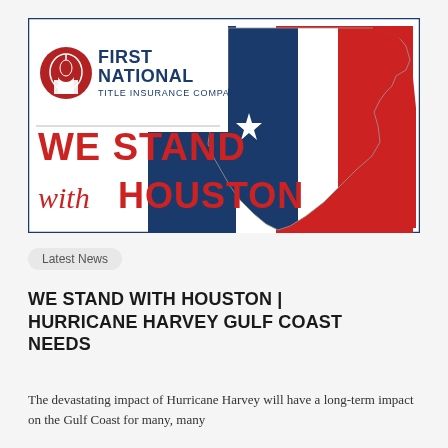[Figure (illustration): First National Title Insurance Company banner with Texas state outline in red, white and blue. Large red bold text reads 'WE STAND' and 'with HOUSTON' with the company logo in the upper left corner.]
Latest News
WE STAND WITH HOUSTON | HURRICANE HARVEY GULF COAST NEEDS
The devastating impact of Hurricane Harvey will have a long-term impact on the Gulf Coast for many, many